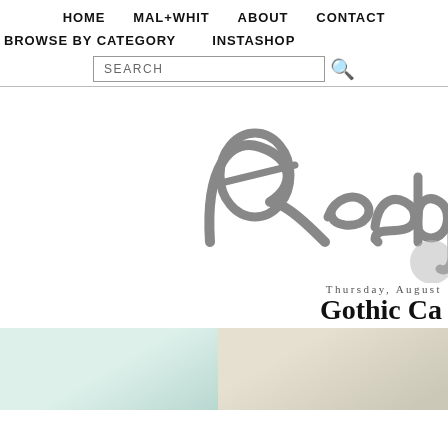HOME   MAL+WHIT   ABOUT   CONTACT
BROWSE BY CATEGORY   INSTASHOP
SEARCH
[Figure (illustration): Cursive/script logo text reading 'Ready' in gray brush script style, partially cropped on the right]
Thursday, August
Gothic Ca